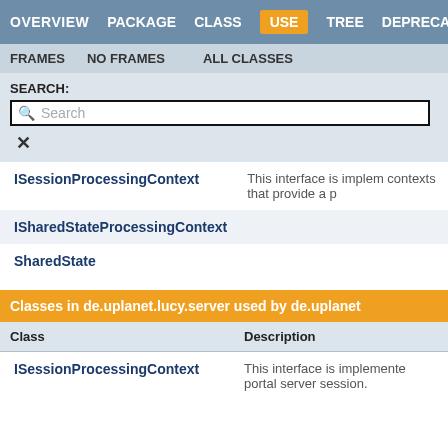OVERVIEW  PACKAGE  CLASS  USE  TREE  DEPRECATED
FRAMES  NO FRAMES  ALL CLASSES
SEARCH:
| Class | Description |
| --- | --- |
| ISessionProcessingContext | This interface is implem contexts that provide a p |
| ISharedStateProcessingContext |  |
| SharedState |  |
Classes in de.uplanet.lucy.server used by de.uplanet
| Class | Description |
| --- | --- |
| ISessionProcessingContext | This interface is implemented portal server session. |